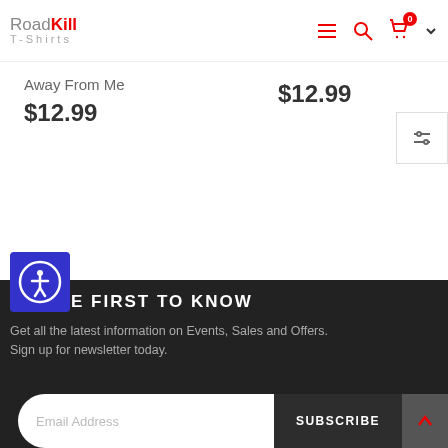RoadKill T-Shirts - navigation header with menu, search, and cart icons
Away From Me
$12.99
$12.99
[Figure (other): Filter/sort button icon with horizontal sliders]
[Figure (other): Blue accessibility icon with person-in-circle symbol]
BE THE FIRST TO KNOW
Get all the latest information on Events, Sales and Offers. Sign up for newsletter today.
Email Address
SUBSCRIBE